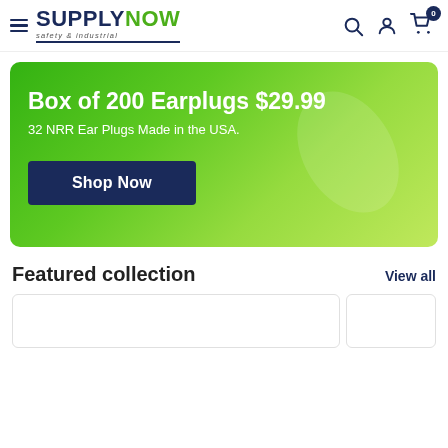SUPPLYNOW safety & industrial — navigation header with hamburger menu, search, account, and cart (0) icons
[Figure (infographic): Green gradient banner advertising Box of 200 Earplugs $29.99, 32 NRR Ear Plugs Made in the USA, with a Shop Now button]
Box of 200 Earplugs $29.99
32 NRR Ear Plugs Made in the USA.
Shop Now
Featured collection
View all